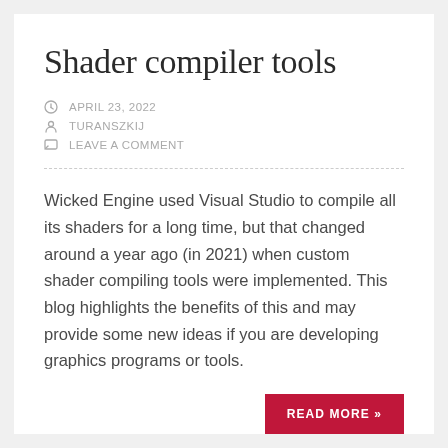Shader compiler tools
APRIL 23, 2022
TURANSZKIJ
LEAVE A COMMENT
Wicked Engine used Visual Studio to compile all its shaders for a long time, but that changed around a year ago (in 2021) when custom shader compiling tools were implemented. This blog highlights the benefits of this and may provide some new ideas if you are developing graphics programs or tools.
READ MORE »